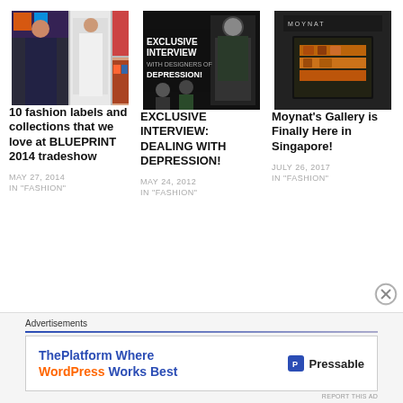[Figure (photo): Fashion collage with models in colorful and white outfits, accessories and shoes]
10 fashion labels and collections that we love at BLUEPRINT 2014 tradeshow
MAY 27, 2014
IN "FASHION"
[Figure (photo): Exclusive interview promotional image with text EXCLUSIVE INTERVIEW WITH DESIGNERS OF DEPRESSION and two male figures]
EXCLUSIVE INTERVIEW: DEALING WITH DEPRESSION!
MAY 24, 2012
IN "FASHION"
[Figure (photo): Moynat luxury store gallery interior with dark walls and orange/gold display cases]
Moynat's Gallery is Finally Here in Singapore!
JULY 26, 2017
IN "FASHION"
Advertisements
[Figure (screenshot): Ad banner: ThePlatform Where WordPress Works Best — Pressable]